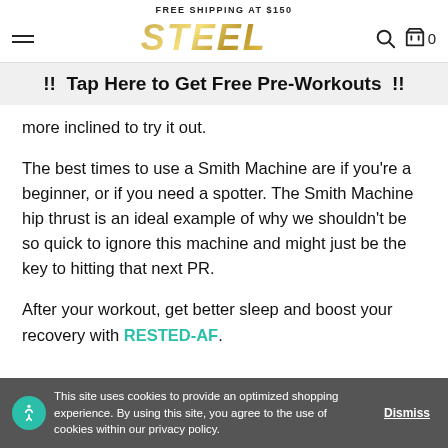FREE SHIPPING AT $150
[Figure (logo): STEEL brand logo in gold metallic italic font]
!! Tap Here to Get Free Pre-Workouts !!
more inclined to try it out.
The best times to use a Smith Machine are if you're a beginner, or if you need a spotter. The Smith Machine hip thrust is an ideal example of why we shouldn't be so quick to ignore this machine and might just be the key to hitting that next PR.
After your workout, get better sleep and boost your recovery with RESTED-AF.
This site uses cookies to provide an optimized shopping experience. By using this site, you agree to the use of cookies within our privacy policy. Dismiss